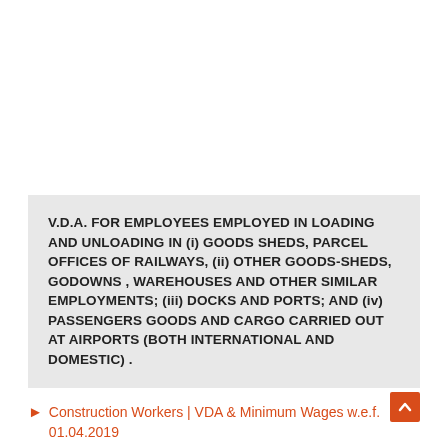V.D.A. FOR EMPLOYEES EMPLOYED IN LOADING AND UNLOADING IN (i) GOODS SHEDS, PARCEL OFFICES OF RAILWAYS, (ii) OTHER GOODS-SHEDS, GODOWNS , WAREHOUSES AND OTHER SIMILAR EMPLOYMENTS; (iii) DOCKS AND PORTS; AND (iv) PASSENGERS GOODS AND CARGO CARRIED OUT AT AIRPORTS (BOTH INTERNATIONAL AND DOMESTIC) .
Construction Workers | VDA & Minimum Wages w.e.f. 01.04.2019